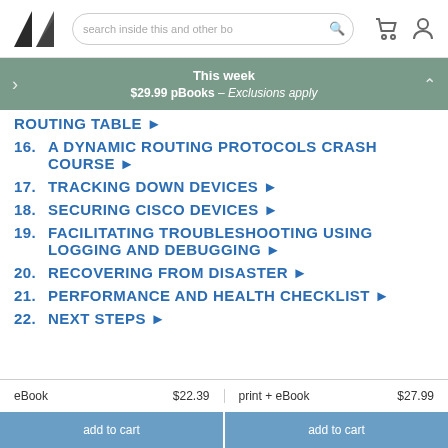search inside this and other bo
[Figure (infographic): Mango/publisher logo — two dark triangular shapes]
This week $29.99 pBooks – Exclusions apply
ROUTING TABLE ▶
16.  A DYNAMIC ROUTING PROTOCOLS CRASH COURSE ▶
17.  TRACKING DOWN DEVICES ▶
18.  SECURING CISCO DEVICES ▶
19.  FACILITATING TROUBLESHOOTING USING LOGGING AND DEBUGGING ▶
20.  RECOVERING FROM DISASTER ▶
21.  PERFORMANCE AND HEALTH CHECKLIST ▶
22.  NEXT STEPS ▶
eBook   $22.39   print + eBook   $27.99
add to cart   add to cart